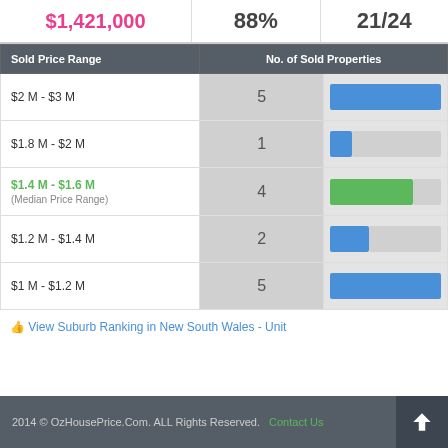$1,421,000 | 88% | 21/24
| Sold Price Range | No. of Sold Properties |  |
| --- | --- | --- |
| $2 M - $3 M | 5 | bar-full |
| $1.8 M - $2 M | 1 | bar-small |
| $1.4 M - $1.6 M (Median Price Range) | 4 | bar-large-green |
| $1.2 M - $1.4 M | 2 | bar-medium |
| $1 M - $1.2 M | 5 | bar-full |
View Suburb Ranking in New South Wales - Unit
2014 © OzHousePrice.Com. ALL Rights Reserved.  Contact Us